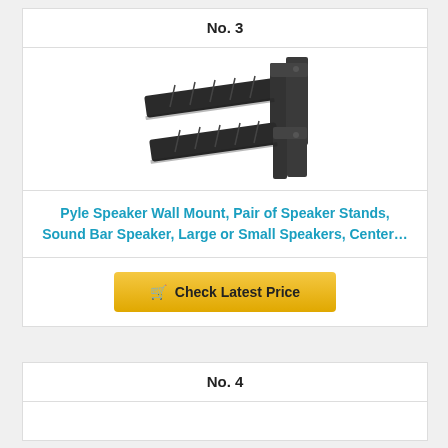No. 3
[Figure (photo): Pyle speaker wall mount bracket pair, black metal, shown at an angle with two L-shaped bracket arms extending outward]
Pyle Speaker Wall Mount, Pair of Speaker Stands, Sound Bar Speaker, Large or Small Speakers, Center…
Check Latest Price
No. 4